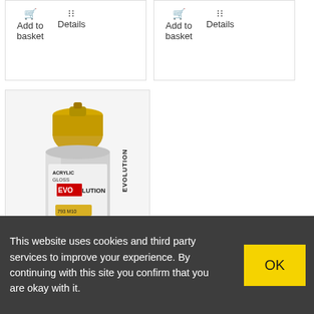[Figure (photo): Partial view of two product card buttons: Add to basket and Details, for two products in a grid layout]
[Figure (photo): Pinty Plus Evolution Metallic Gold spray paint can in silver and gold color with Evolution branding]
Pinty Plus Evolution Metallic Gold
This website uses cookies and third party services to improve your experience. By continuing with this site you confirm that you are okay with it.